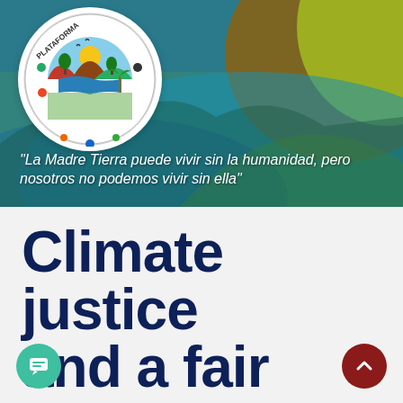[Figure (illustration): Hero banner with colorful abstract background in blue, teal, brown, and green tones. Includes the Plataforma Boliviana Frente al Cambio Climático circular logo in the top left, featuring stylized landscape with mountains, trees, and water. Quote overlaid in white italic text at the bottom of the banner.]
"La Madre Tierra puede vivir sin la humanidad, pero nosotros no podemos vivir sin ella"
Climate justice and a fair